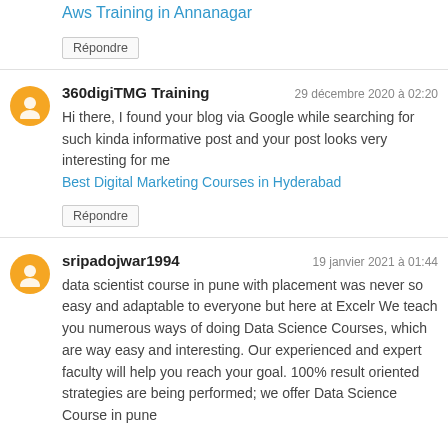Aws Training in Annanagar
Répondre
360digiTMG Training
29 décembre 2020 à 02:20
Hi there, I found your blog via Google while searching for such kinda informative post and your post looks very interesting for me
Best Digital Marketing Courses in Hyderabad
Répondre
sripadojwar1994
19 janvier 2021 à 01:44
data scientist course in pune with placement was never so easy and adaptable to everyone but here at Excelr We teach you numerous ways of doing Data Science Courses, which are way easy and interesting. Our experienced and expert faculty will help you reach your goal. 100% result oriented strategies are being performed; we offer Data Science Course in pune